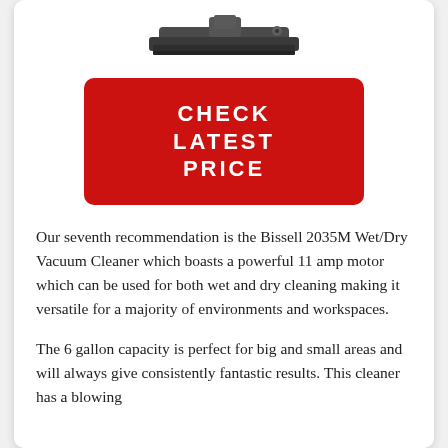[Figure (photo): Product image of a vacuum cleaner attachment/tool, dark grey color, viewed from above, partial view at top of page]
[Figure (other): Red rounded rectangle button with white bold uppercase text reading CHECK LATEST PRICE]
Our seventh recommendation is the Bissell 2035M Wet/Dry Vacuum Cleaner which boasts a powerful 11 amp motor which can be used for both wet and dry cleaning making it versatile for a majority of environments and workspaces.
The 6 gallon capacity is perfect for big and small areas and will always give consistently fantastic results. This cleaner has a blowing